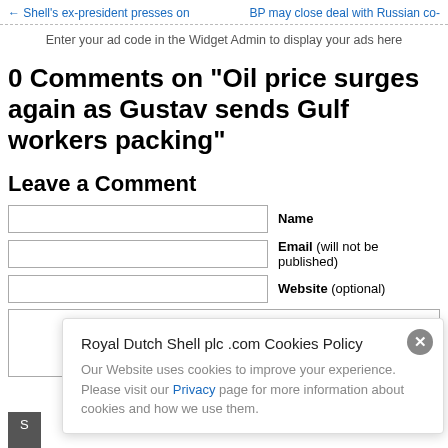← Shell's ex-president presses on | BP may close deal with Russian co-
Enter your ad code in the Widget Admin to display your ads here
0 Comments on “Oil price surges again as Gustav sends Gulf workers packing”
Leave a Comment
Name [input field]
Email (will not be published) [input field]
Website (optional) [input field]
[textarea for comment]
Royal Dutch Shell plc .com Cookies Policy
Our Website uses cookies to improve your experience. Please visit our Privacy page for more information about cookies and how we use them.